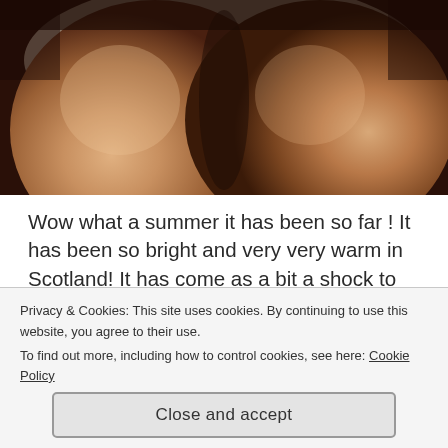[Figure (photo): Close-up photo with warm brown tones showing rounded shapes against a light background]
Wow what a summer it has been so far ! It has been so bright and very very warm in Scotland! It has come as a bit a shock to all of us Scotts !!  Haha! We should be lapping it up.. but there is always one Scotsman/woman who grumbles that “it is far too hot”! 😜  Come winter time we will ALL be complaining “it’s far too cold” !
Privacy & Cookies: This site uses cookies. By continuing to use this website, you agree to their use.
To find out more, including how to control cookies, see here: Cookie Policy
Close and accept